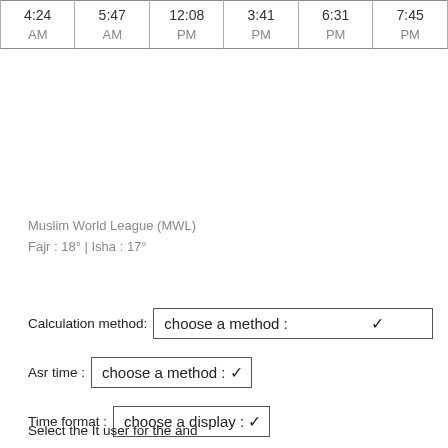| 4:24 | 5:47 | 12:08 | 3:41 | 6:31 | 7:45 |
| --- | --- | --- | --- | --- | --- |
| AM | AM | PM | PM | PM | PM |
Muslim World League (MWL)
Fajr : 18° | Isha : 17°
Calculation method: choose a method :
Asr time : choose a method :
Time format : choose a display :
Select the It user for the and